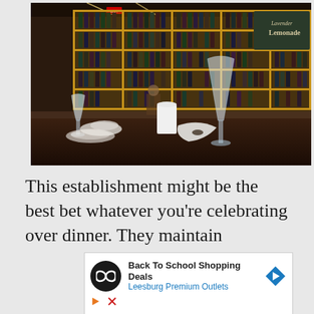[Figure (photo): Interior of a wine bar/restaurant showing a long bar counter in the foreground with wine glasses and folded napkins, and floor-to-ceiling shelves filled with wine bottles in the background. A chalkboard sign reads 'Lavender Lemonade'.]
This establishment might be the best bet whatever you're celebrating over dinner. They maintain
[Figure (other): Advertisement banner for 'Back To School Shopping Deals' by Leesburg Premium Outlets, featuring a circular black logo with infinity/glasses icon, text, and a blue diamond navigation arrow. Below are small play and close icons.]